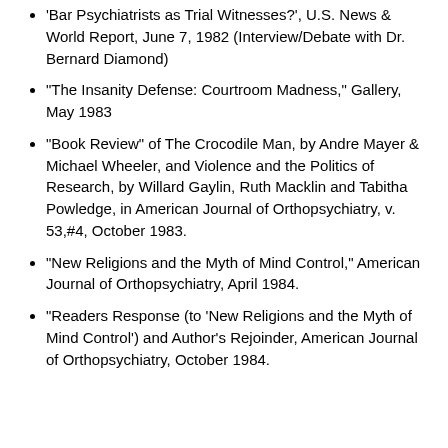'Bar Psychiatrists as Trial Witnesses?', U.S. News & World Report, June 7, 1982 (Interview/Debate with Dr. Bernard Diamond)
"The Insanity Defense: Courtroom Madness," Gallery, May 1983
"Book Review" of The Crocodile Man, by Andre Mayer & Michael Wheeler, and Violence and the Politics of Research, by Willard Gaylin, Ruth Macklin and Tabitha Powledge, in American Journal of Orthopsychiatry, v. 53,#4, October 1983.
"New Religions and the Myth of Mind Control," American Journal of Orthopsychiatry, April 1984.
"Readers Response (to 'New Religions and the Myth of Mind Control') and Author's Rejoinder, American Journal of Orthopsychiatry, October 1984.